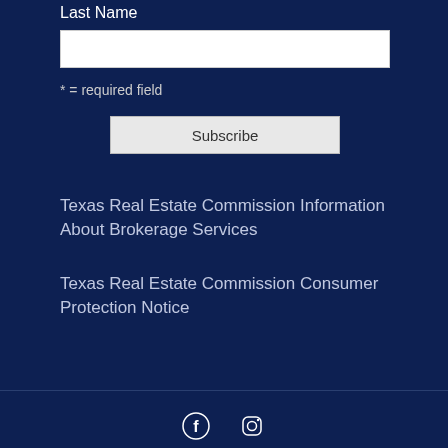Last Name
* = required field
Subscribe
Texas Real Estate Commission Information About Brokerage Services
Texas Real Estate Commission Consumer Protection Notice
Blog   Testimonials   Privacy Policy